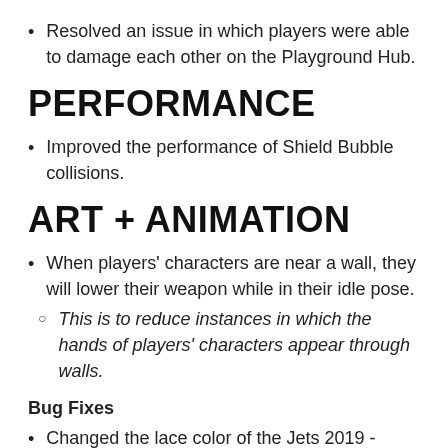Resolved an issue in which players were able to damage each other on the Playground Hub.
PERFORMANCE
Improved the performance of Shield Bubble collisions.
ART + ANIMATION
When players' characters are near a wall, they will lower their weapon while in their idle pose.
This is to reduce instances in which the hands of players' characters appear through walls.
Bug Fixes
Changed the lace color of the Jets 2019 - 2020 NFL